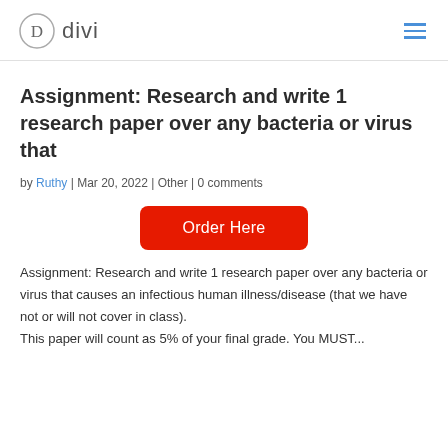D divi
Assignment: Research and write 1 research paper over any bacteria or virus that
by Ruthy | Mar 20, 2022 | Other | 0 comments
[Figure (other): Red 'Order Here' button]
Assignment: Research and write 1 research paper over any bacteria or virus that causes an infectious human illness/disease (that we have not or will not cover in class).
This paper will count as 5% of your final grade. You MUST...